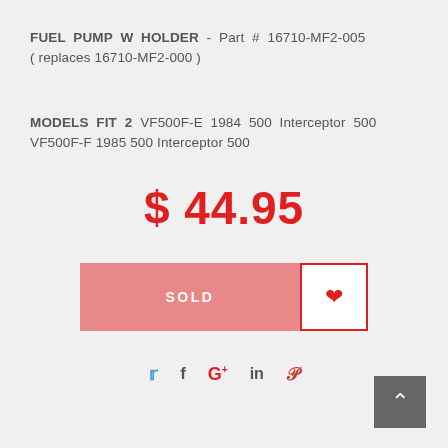FUEL PUMP W HOLDER - Part # 16710-MF2-005 ( replaces 16710-MF2-000 )
MODELS FIT 2 VF500F-E 1984 500 Interceptor 500 VF500F-F 1985 500 Interceptor 500
$ 44.95
SOLD
[Figure (other): Social sharing icons: Twitter, Facebook, Google+, LinkedIn, Pinterest]
[Figure (other): Back to top arrow button]